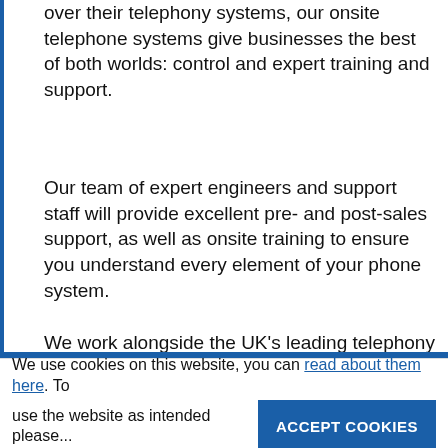over their telephony systems, our onsite telephone systems give businesses the best of both worlds: control and expert training and support.
Our team of expert engineers and support staff will provide excellent pre- and post-sales support, as well as onsite training to ensure you understand every element of your phone system.
We work alongside the UK's leading telephony suppliers. This means that
We use cookies on this website, you can read about them here. To use the website as intended please... ACCEPT COOKIES